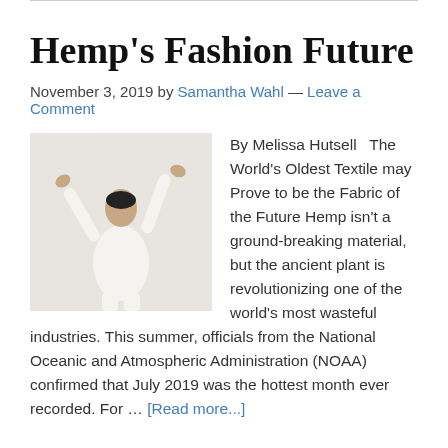Hemp's Fashion Future
November 3, 2019 by Samantha Wahl — Leave a Comment
[Figure (photo): Person dressed in white hemp clothing, arms raised, standing against a white background]
By Melissa Hutsell   The World's Oldest Textile may Prove to be the Fabric of the Future Hemp isn't a ground-breaking material, but the ancient plant is revolutionizing one of the world's most wasteful industries. This summer, officials from the National Oceanic and Atmospheric Administration (NOAA) confirmed that July 2019 was the hottest month ever recorded. For … [Read more...]